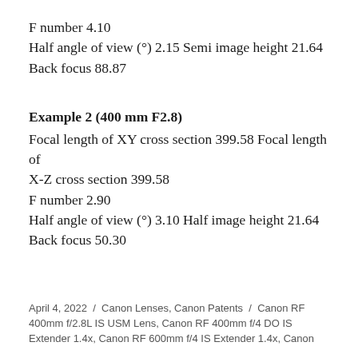F number 4.10
Half angle of view (°) 2.15 Semi image height 21.64
Back focus 88.87
Example 2 (400 mm F2.8)
Focal length of XY cross section 399.58 Focal length of
X-Z cross section 399.58
F number 2.90
Half angle of view (°) 3.10 Half image height 21.64
Back focus 50.30
April 4, 2022  /  Canon Lenses, Canon Patents  /  Canon RF 400mm f/2.8L IS USM Lens, Canon RF 400mm f/4 DO IS Extender 1.4x, Canon RF 600mm f/4 IS Extender 1.4x, Canon